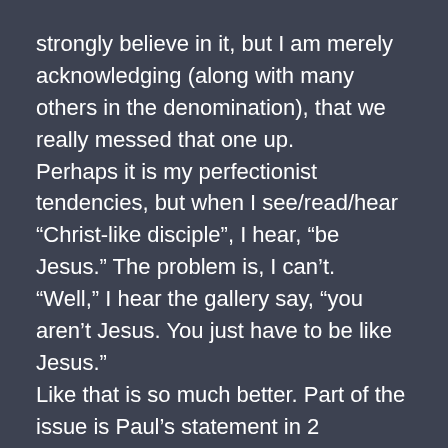strongly believe in it, but I am merely acknowledging (along with many others in the denomination), that we really messed that one up.
Perhaps it is my perfectionist tendencies, but when I see/read/hear “Christ-like disciple”, I hear, “be Jesus.” The problem is, I can’t.
“Well,” I hear the gallery say, “you aren’t Jesus. You just have to be like Jesus.”
Like that is so much better. Part of the issue is Paul’s statement in 2 Corinthians 5:17